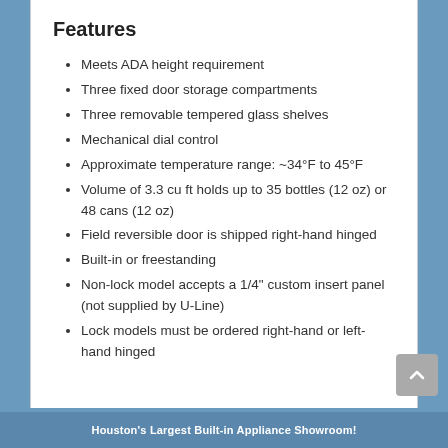Features
Meets ADA height requirement
Three fixed door storage compartments
Three removable tempered glass shelves
Mechanical dial control
Approximate temperature range: ~34°F to 45°F
Volume of 3.3 cu ft holds up to 35 bottles (12 oz) or 48 cans (12 oz)
Field reversible door is shipped right-hand hinged
Built-in or freestanding
Non-lock model accepts a 1/4" custom insert panel (not supplied by U-Line)
Lock models must be ordered right-hand or left-hand hinged
Houston's Largest Built-in Appliance Showroom!